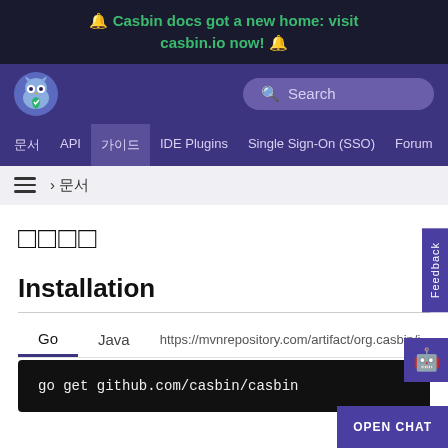🔔 Casbin docs got a new home: visit casbin.io now! 🔔
[Figure (screenshot): Casbin owl logo with green shield]
Search
문서  API  가이드  IDE Plugins  Single Sign-On (SSO)  Forum  블로그
☰ › 문서
사용 방법
Installation
Go  Java  https://mvnrepository.com/artifact/org.casbin/j
go get github.com/casbin/casbin